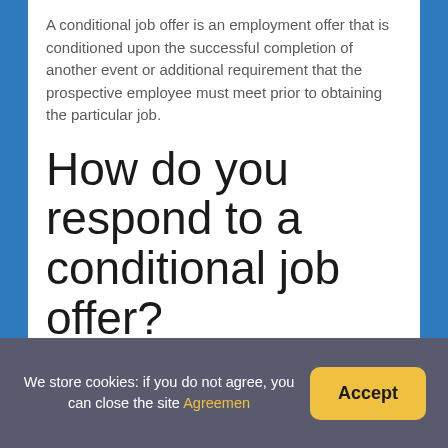A conditional job offer is an employment offer that is conditioned upon the successful completion of another event or additional requirement that the prospective employee must meet prior to obtaining the particular job.
How do you respond to a conditional job offer?
How to Respond to a Conditional Job Offer
We store cookies: if you do not agree, you can close the site Agreemen